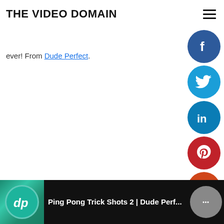THE VIDEO DOMAIN
ever! From Dude Perfect.
[Figure (infographic): Social media share buttons column on the right side: Facebook (dark blue circle with f), Twitter (blue circle with bird), LinkedIn (blue circle with in), Pinterest (red circle with P), Reddit (orange-red circle with Reddit alien), Blogger (orange circle with B), More options (grey circle with ...)]
[Figure (screenshot): Video thumbnail strip at bottom showing Dude Perfect logo (teal circle with dp) and title 'Ping Pong Trick Shots 2 | Dude Perf...' on dark background with menu dots button]